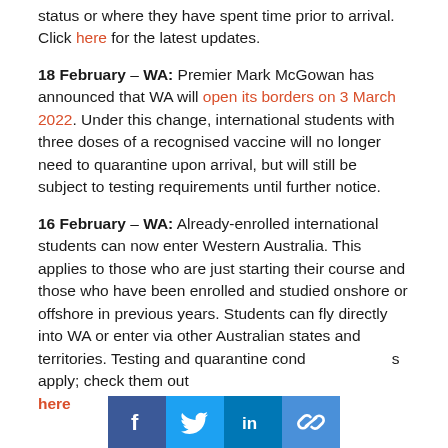status or where they have spent time prior to arrival. Click here for the latest updates.
18 February – WA: Premier Mark McGowan has announced that WA will open its borders on 3 March 2022. Under this change, international students with three doses of a recognised vaccine will no longer need to quarantine upon arrival, but will still be subject to testing requirements until further notice.
16 February – WA: Already-enrolled international students can now enter Western Australia. This applies to those who are just starting their course and those who have been enrolled and studied onshore or offshore in previous years. Students can fly directly into WA or enter via other Australian states and territories. Testing and quarantine conditions apply; check them out here